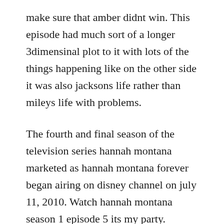make sure that amber didnt win. This episode had much sort of a longer 3dimensinal plot to it with lots of the things happening like on the other side it was also jacksons life rather than mileys life with problems.
The fourth and final season of the television series hannah montana marketed as hannah montana forever began airing on disney channel on july 11, 2010. Watch hannah montana season 1 episode 5 its my party. Hannah montana its my party and ill lie if i want to tv episode. Hannah montana season 1